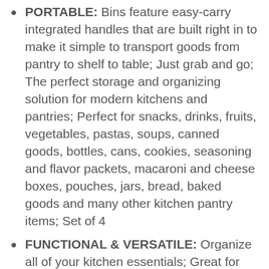PORTABLE: Bins feature easy-carry integrated handles that are built right in to make it simple to transport goods from pantry to shelf to table; Just grab and go; The perfect storage and organizing solution for modern kitchens and pantries; Perfect for snacks, drinks, fruits, vegetables, pastas, soups, canned goods, bottles, cans, cookies, seasoning and flavor packets, macaroni and cheese boxes, pouches, jars, bread, baked goods and many other kitchen pantry items; Set of 4
FUNCTIONAL & VERSATILE: Organize all of your kitchen essentials; Great for dry goods and other kitchen items such as: towels, candles, small appliances and kitchen tools; These also work in the refrigerator or freezer; Classic open wire design offers roomy and easy storage for any room in your home; Use multiple bins side by side for larger spaces or